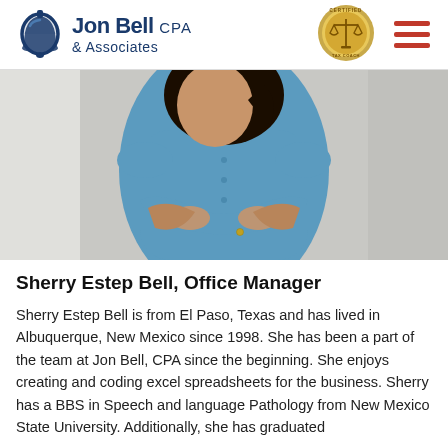[Figure (logo): Jon Bell CPA & Associates logo with bell icon, company name, and Certified Tax Coach badge]
[Figure (photo): Professional photo of a woman in a blue shirt with arms crossed]
Sherry Estep Bell, Office Manager
Sherry Estep Bell is from El Paso, Texas and has lived in Albuquerque, New Mexico since 1998. She has been a part of the team at Jon Bell, CPA since the beginning. She enjoys creating and coding excel spreadsheets for the business. Sherry has a BBS in Speech and language Pathology from New Mexico State University. Additionally, she has graduated